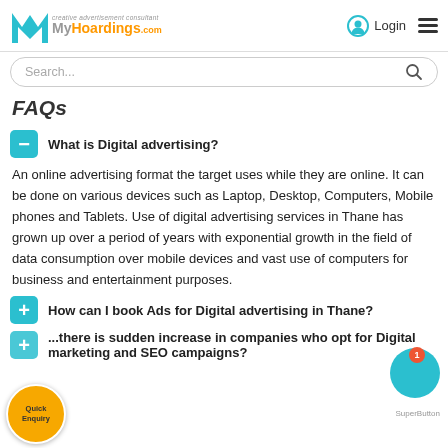[Figure (logo): MyHoardings.com logo with teal M icon and tagline 'creative advertisement consultant']
Login
FAQs
What is Digital advertising?
An online advertising format the target uses while they are online. It can be done on various devices such as Laptop, Desktop, Computers, Mobile phones and Tablets. Use of digital advertising services in Thane has grown up over a period of years with exponential growth in the field of data consumption over mobile devices and vast use of computers for business and entertainment purposes.
How can I book Ads for Digital advertising in Thane?
...there is sudden increase in companies who opt for Digital marketing and SEO campaigns?